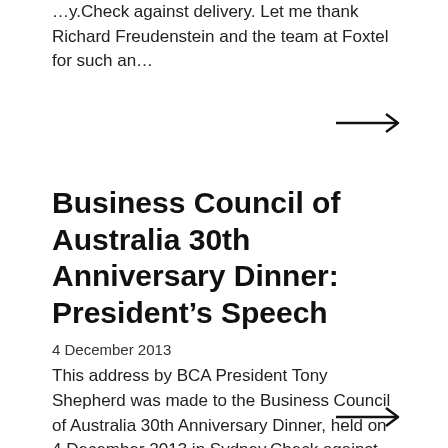…y.Check against delivery. Let me thank Richard Freudenstein and the team at Foxtel for such an…
[Figure (other): Right-pointing arrow icon (navigation link)]
Business Council of Australia 30th Anniversary Dinner: President's Speech
4 December 2013
This address by BCA President Tony Shepherd was made to the Business Council of Australia 30th Anniversary Dinner, held on 4 December 2013 in Sydney.Check against delivery Let me thank Richard Freudenstein and the team at Foxtel for such an…
[Figure (other): Right-pointing arrow icon (navigation link)]